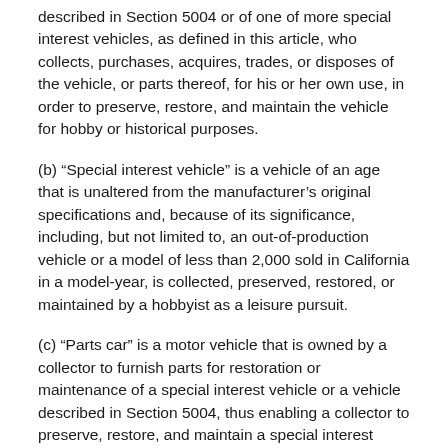described in Section 5004 or of one of more special interest vehicles, as defined in this article, who collects, purchases, acquires, trades, or disposes of the vehicle, or parts thereof, for his or her own use, in order to preserve, restore, and maintain the vehicle for hobby or historical purposes.
(b) “Special interest vehicle” is a vehicle of an age that is unaltered from the manufacturer’s original specifications and, because of its significance, including, but not limited to, an out-of-production vehicle or a model of less than 2,000 sold in California in a model-year, is collected, preserved, restored, or maintained by a hobbyist as a leisure pursuit.
(c) “Parts car” is a motor vehicle that is owned by a collector to furnish parts for restoration or maintenance of a special interest vehicle or a vehicle described in Section 5004, thus enabling a collector to preserve, restore, and maintain a special interest vehicle or a vehicle described in Section 5004.